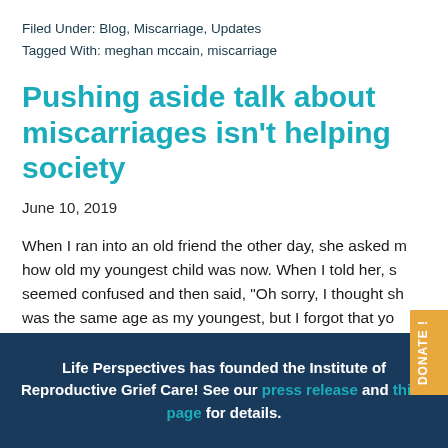Filed Under: Blog, Miscarriage, Updates
Tagged With: meghan mccain, miscarriage
Pushing aside talk about miscarriages isn't helping society
June 10, 2019
When I ran into an old friend the other day, she asked how old my youngest child was now. When I told her, she seemed confused and then said, "Oh sorry, I thought she was the same age as my youngest, but I forgot that yo...
Life Perspectives has founded the Institute of Reproductive Grief Care! See our press release and this page for details.